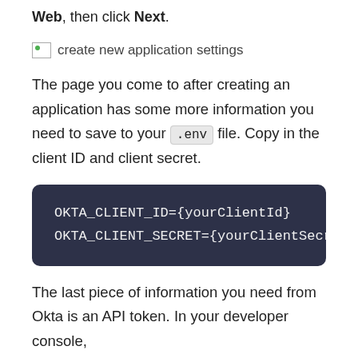Web, then click Next.
[Figure (screenshot): create new application settings image placeholder]
The page you come to after creating an application has some more information you need to save to your .env file. Copy in the client ID and client secret.
OKTA_CLIENT_ID={yourClientId}
OKTA_CLIENT_SECRET={yourClientSecre
The last piece of information you need from Okta is an API token. In your developer console,